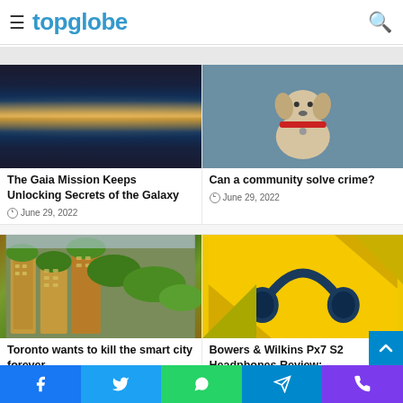topglobe
[Figure (photo): Galaxy/Milky Way image — dark sky with bright galactic band]
The Gaia Mission Keeps Unlocking Secrets of the Galaxy
June 29, 2022
[Figure (photo): White and brown dog sitting, wearing a red collar, dark background]
Can a community solve crime?
June 29, 2022
[Figure (photo): Aerial view of green city buildings covered with plants/trees — Toronto smart city]
Toronto wants to kill the smart city forever
[Figure (photo): Blue Bowers & Wilkins headphones on yellow background]
Bowers & Wilkins Px7 S2 Headphones Review: